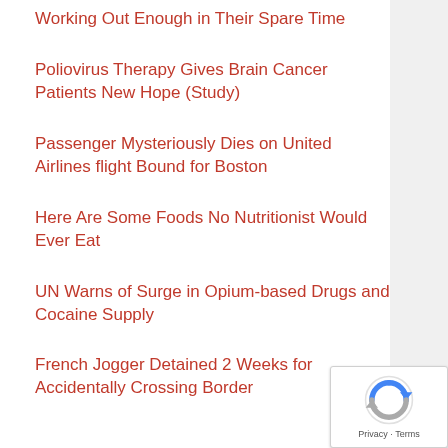Working Out Enough in Their Spare Time
Poliovirus Therapy Gives Brain Cancer Patients New Hope (Study)
Passenger Mysteriously Dies on United Airlines flight Bound for Boston
Here Are Some Foods No Nutritionist Would Ever Eat
UN Warns of Surge in Opium-based Drugs and Cocaine Supply
French Jogger Detained 2 Weeks for Accidentally Crossing Border